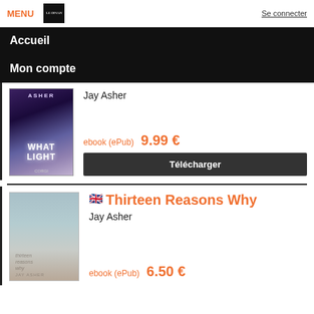MENU | Le Divan | Se connecter
Accueil
Mon compte
[Figure (illustration): Book cover: What Light by Jay Asher, dark purple/blue tones]
Jay Asher
ebook (ePub)  9.99 €
Télécharger
[Figure (illustration): Book cover: Thirteen Reasons Why by Jay Asher, pale blue/grey tones with girl]
Thirteen Reasons Why
Jay Asher
ebook (ePub)  6.50 €